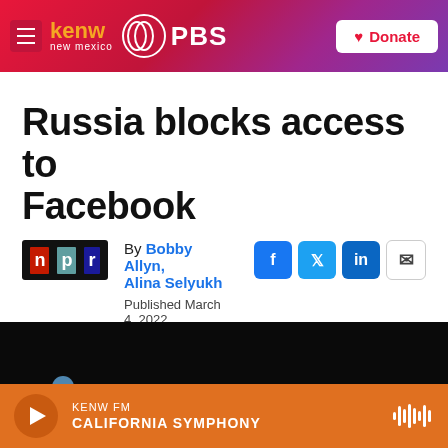KENW new mexico PBS — Donate
Russia blocks access to Facebook
By Bobby Allyn, Alina Selyukh
Published March 4, 2022 at 1:29 PM MST
[Figure (screenshot): Dark video thumbnail area with small blue dot visible]
KENW FM — CALIFORNIA SYMPHONY